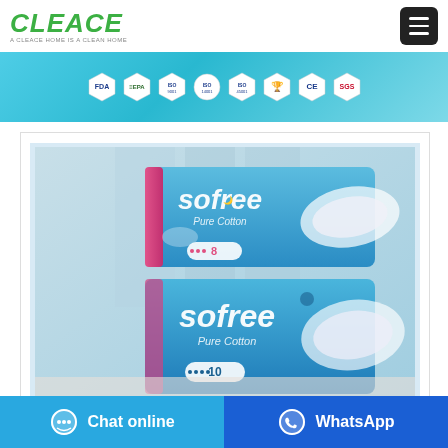[Figure (logo): CLEACE brand logo in green bold italic text with tagline 'A CLEACE HOME IS A CLEAN HOME']
[Figure (infographic): Certification badges banner: FDA, EPA, and several ISO/CE/SGS quality marks on a teal/blue gradient background]
[Figure (photo): Product photo of two Sofree Pure Cotton sanitary pad packages stacked, on blue gradient background]
Chat online
WhatsApp